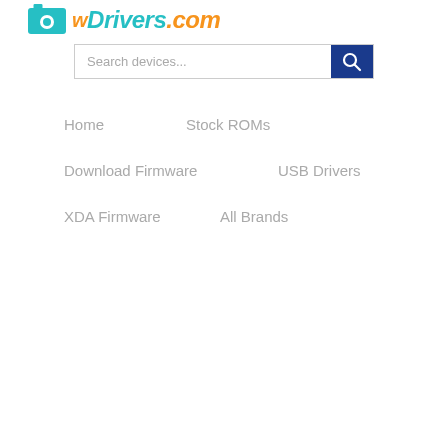wDrivers.com
[Figure (screenshot): Search box with placeholder text 'Search devices...' and a blue search button with magnifier icon]
Home
Stock ROMs
Download Firmware
USB Drivers
XDA Firmware
All Brands